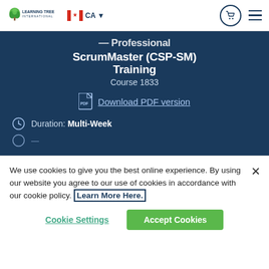Learning Tree International | CA
Professional ScrumMaster (CSP-SM) Training
Course 1833
Download PDF version
Duration: Multi-Week
We use cookies to give you the best online experience. By using our website you agree to our use of cookies in accordance with our cookie policy. Learn More Here.
Cookie Settings
Accept Cookies